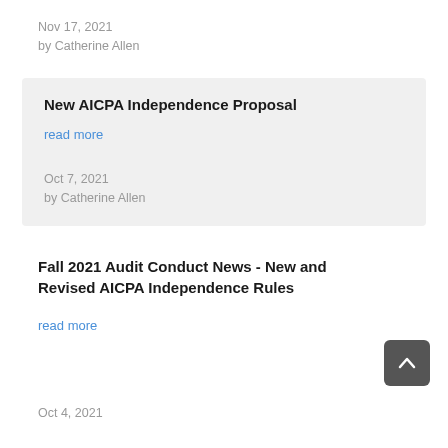Nov 17, 2021
by Catherine Allen
New AICPA Independence Proposal
read more
Oct 7, 2021
by Catherine Allen
Fall 2021 Audit Conduct News - New and Revised AICPA Independence Rules
read more
Oct 4, 2021